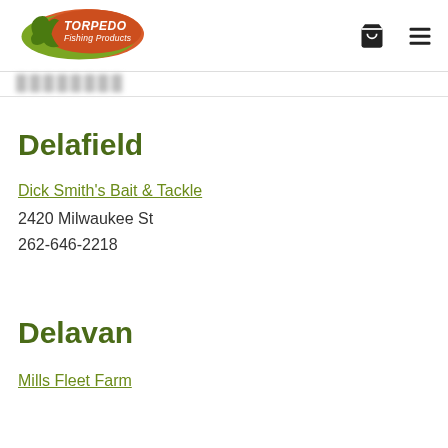[Figure (logo): Torpedo Fishing Products logo — orange oval with green fish silhouette and white italic text]
Delafield
Dick Smith's Bait & Tackle
2420 Milwaukee St
262-646-2218
Delavan
Mills Fleet Farm